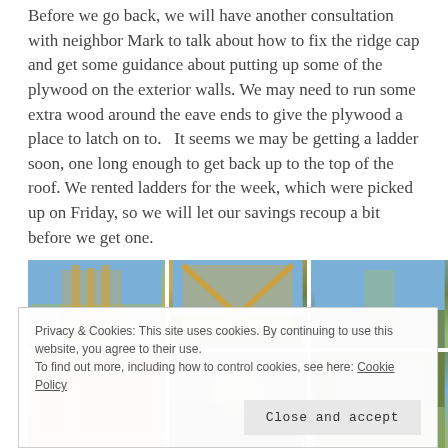Before we go back, we will have another consultation with neighbor Mark to talk about how to fix the ridge cap and get some guidance about putting up some of the plywood on the exterior walls. We may need to run some extra wood around the eave ends to give the plywood a place to latch on to.  It seems we may be getting a ladder soon, one long enough to get back up to the top of the roof. We rented ladders for the week, which were picked up on Friday, so we will let our savings recoup a bit before we get one.
[Figure (photo): Three side-by-side construction photos showing wooden framing of a building with trees and sky in the background.]
[Figure (photo): Three side-by-side photos showing construction details, ground-level views of the building project.]
Privacy & Cookies: This site uses cookies. By continuing to use this website, you agree to their use.
To find out more, including how to control cookies, see here: Cookie Policy